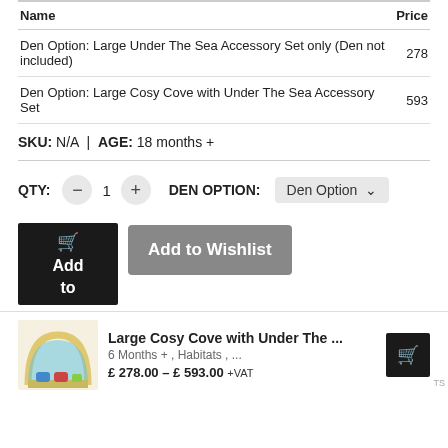| Name | Price |
| --- | --- |
| Den Option: Large Under The Sea Accessory Set only (Den not included) | 278 |
| Den Option: Large Cosy Cove with Under The Sea Accessory Set | 593 |
SKU: N/A | AGE: 18 months +
QTY: − 1 + DEN OPTION: Den Option ▾
Add to [cart] | Add to Wishlist
Large Cosy Cove with Under The ... | 6 Months + , Habitats , ... | £ 278.00 – £ 593.00 +VAT